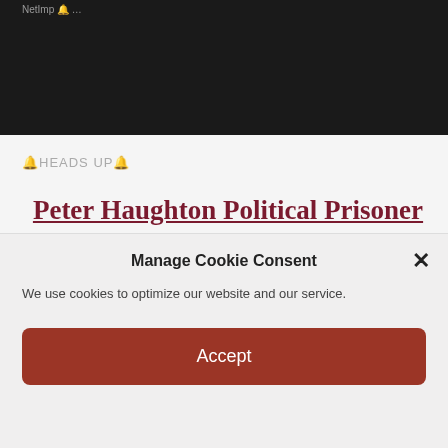[Figure (screenshot): Dark/black rectangular area at top of page, representing a video or media player background]
🔔HEADS UP🔔
Peter Haughton Political Prisoner Adelaide South Australia Click HERE
Manage Cookie Consent
We use cookies to optimize our website and our service.
Accept